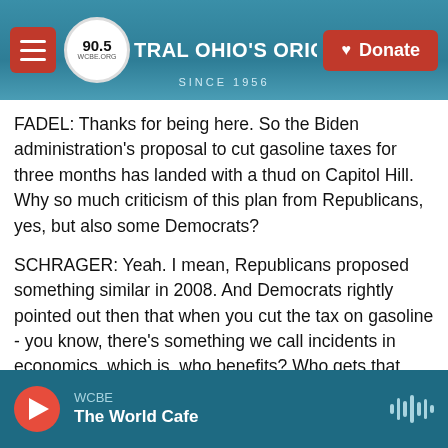[Figure (screenshot): NPR radio station WCBE 90.5 website header with hamburger menu, logo, station name 'CENTRAL OHIO'S ORIGINAL NPR STATION', since 1956, and red Donate button]
FADEL: Thanks for being here. So the Biden administration's proposal to cut gasoline taxes for three months has landed with a thud on Capitol Hill. Why so much criticism of this plan from Republicans, yes, but also some Democrats?
SCHRAGER: Yeah. I mean, Republicans proposed something similar in 2008. And Democrats rightly pointed out then that when you cut the tax on gasoline - you know, there's something we call incidents in economics, which is, who benefits? Who gets that windfall?
[Figure (screenshot): Audio player bar at bottom showing WCBE station with 'The World Cafe' program playing, red play button and waveform icon]